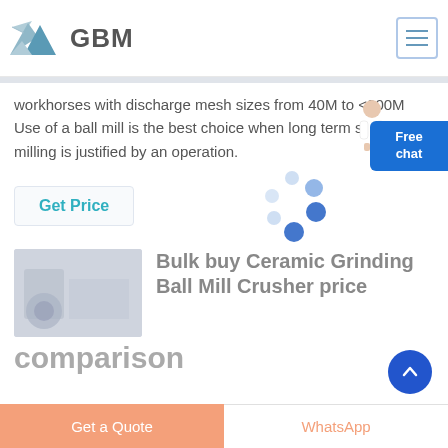[Figure (logo): GBM logo with mountain/paper plane icon and bold GBM text]
workhorses with discharge mesh sizes from 40M to <200M Use of a ball mill is the best choice when long term stationary milling is justified by an operation.
Get Price
[Figure (illustration): Loading spinner with blue dots in circular arrangement]
[Figure (photo): Industrial grinding mill interior photo]
Bulk buy Ceramic Grinding Ball Mill Crusher price
comparison
Get a Quote
WhatsApp